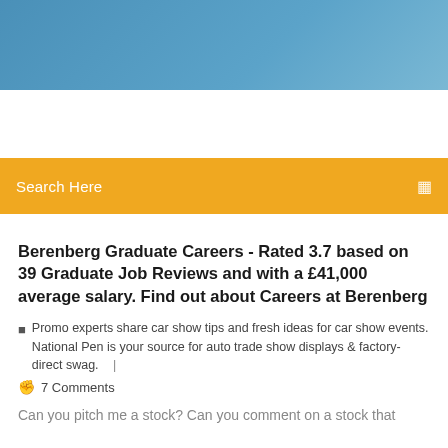[Figure (photo): Blue sky gradient banner/header image]
Search Here
Berenberg Graduate Careers - Rated 3.7 based on 39 Graduate Job Reviews and with a £41,000 average salary. Find out about Careers at Berenberg
Promo experts share car show tips and fresh ideas for car show events. National Pen is your source for auto trade show displays & factory-direct swag.   |
7 Comments
Can you pitch me a stock? Can you comment on a stock that